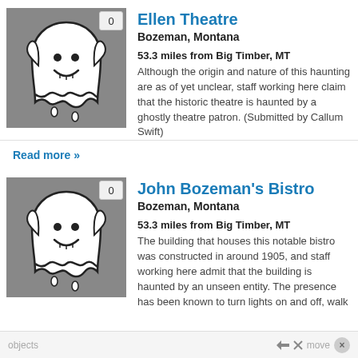[Figure (illustration): Ghost cartoon illustration on grey background with vote badge showing 0]
Ellen Theatre
Bozeman, Montana
53.3 miles from Big Timber, MT
Although the origin and nature of this haunting are as of yet unclear, staff working here claim that the historic theatre is haunted by a ghostly theatre patron. (Submitted by Callum Swift)
Read more »
[Figure (illustration): Ghost cartoon illustration on grey background with vote badge showing 0]
John Bozeman's Bistro
Bozeman, Montana
53.3 miles from Big Timber, MT
The building that houses this notable bistro was constructed in around 1905, and staff working here admit that the building is haunted by an unseen entity. The presence has been known to turn lights on and off, walk
objects